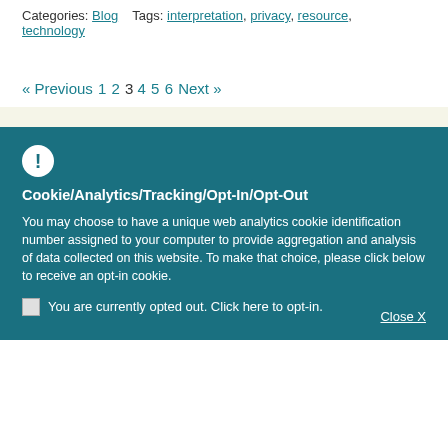Categories: Blog   Tags: interpretation, privacy, resource, technology
« Previous  1 2 3 4 5 6  Next »
Cookie/Analytics/Tracking/Opt-In/Opt-Out
You may choose to have a unique web analytics cookie identification number assigned to your computer to provide aggregation and analysis of data collected on this website. To make that choice, please click below to receive an opt-in cookie.
You are currently opted out. Click here to opt-in.
Close X